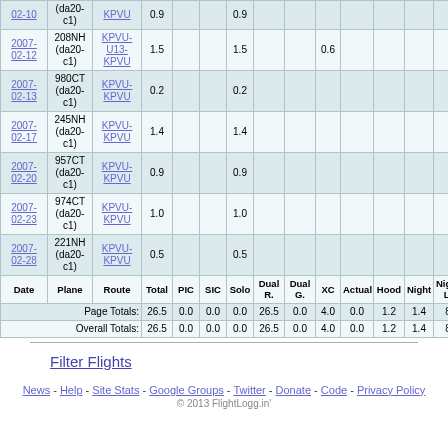| Date | Plane | Route | Total | PIC | SIC | Solo | Dual R. | Dual G. | XC | Actual | Hood | Night | Night L. | Day L. | App's | Com |
| --- | --- | --- | --- | --- | --- | --- | --- | --- | --- | --- | --- | --- | --- | --- | --- | --- |
| 02-10 | (da20-c1) | KPVU | 0.9 |  |  | 0.9 |  |  |  |  |  |  |  |  | 6 |  |
| 2007-02-12 | 208NH (da20-c1) | KPVU-U13-KPVU | 1.5 |  |  | 1.5 |  |  | 0.6 |  |  |  |  |  | 3 |  |
| 2007-02-13 | 980CT (da20-c1) | KPVU-KPVU | 0.2 |  |  | 0.2 |  |  |  |  |  |  |  |  |  |  |
| 2007-02-17 | 245NH (da20-c1) | KPVU-KPVU | 1.4 |  |  | 1.4 |  |  |  |  |  |  |  |  | 3 |  |
| 2007-02-20 | 957CT (da20-c1) | KPVU-KPVU | 0.9 |  |  | 0.9 |  |  |  |  |  |  |  |  | 3 |  |
| 2007-02-23 | 974CT (da20-c1) | KPVU-KPVU | 1.0 |  |  | 1.0 |  |  |  |  |  |  |  |  | 4 |  |
| 2007-02-28 | 221NH (da20-c1) | KPVU-KPVU | 0.5 |  |  | 0.5 |  |  |  |  |  |  |  |  | 2 |  |
| Date | Plane | Route | Total | PIC | SIC | Solo | Dual R. | Dual G. | XC | Actual | Hood | Night | Night L. | Day L. | App's | Com |
| Page Totals: |  |  | 26.5 | 0.0 | 0.0 | 0.0 | 26.5 | 0.0 | 4.0 | 0.0 | 1.2 | 1.4 | 8 | 69 | 0 | 0 |
| Overall Totals: |  |  | 26.5 | 0.0 | 0.0 | 0.0 | 26.5 | 0.0 | 4.0 | 0.0 | 1.2 | 1.4 | 8 | 69 | 0 | 0 |
Filter Flights
News - Help - Site Stats - Google Groups - Twitter - Donate - Code - Privacy Policy
© 2013 FlightLogg.in'